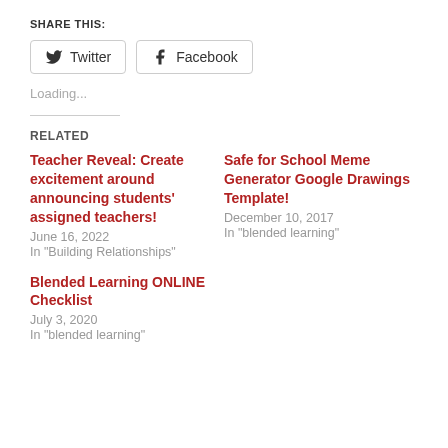SHARE THIS:
Twitter  Facebook
Loading...
RELATED
Teacher Reveal: Create excitement around announcing students' assigned teachers!
June 16, 2022
In "Building Relationships"
Safe for School Meme Generator Google Drawings Template!
December 10, 2017
In "blended learning"
Blended Learning ONLINE Checklist
July 3, 2020
In "blended learning"